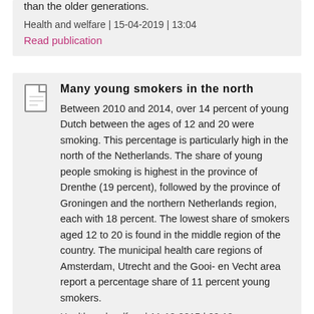than the older generations.
Health and welfare | 15-04-2019 | 13:04
Read publication
Many young smokers in the north
Between 2010 and 2014, over 14 percent of young Dutch between the ages of 12 and 20 were smoking. This percentage is particularly high in the north of the Netherlands. The share of young people smoking is highest in the province of Drenthe (19 percent), followed by the province of Groningen and the northern Netherlands region, each with 18 percent. The lowest share of smokers aged 12 to 20 is found in the middle region of the country. The municipal health care regions of Amsterdam, Utrecht and the Gooi- en Vecht area report a percentage share of 11 percent young smokers.
Health and welfare | 11-12-2015 | 09:12